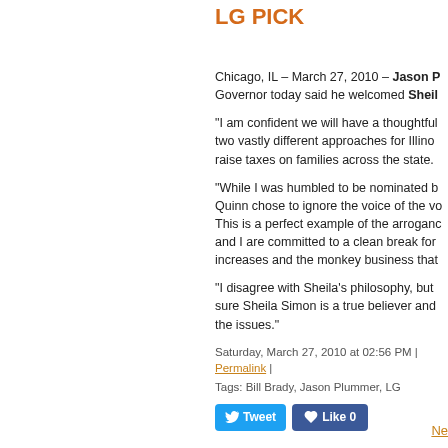LG PICK
Chicago, IL – March 27, 2010 – Jason P... Governor today said he welcomed Sheil...
"I am confident we will have a thoughtful... two vastly different approaches for Illinoi... raise taxes on families across the state.
"While I was humbled to be nominated b... Quinn chose to ignore the voice of the vo... This is a perfect example of the arrogand... and I are committed to a clean break for... increases and the monkey business that...
"I disagree with Sheila's philosophy, but... sure Sheila Simon is a true believer and... the issues."
Saturday, March 27, 2010 at 02:56 PM | Permalink |
Tags: Bill Brady, Jason Plummer, LG
[Figure (screenshot): Tweet and Like social media buttons]
Ne...